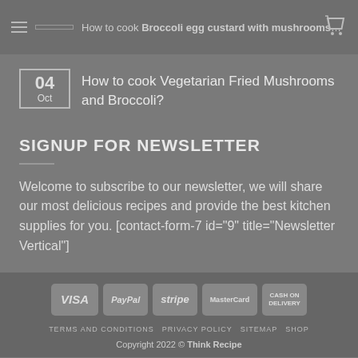How to cook Broccoli egg custard with mushrooms?
04 Oct — How to cook Vegetarian Fried Mushrooms and Broccoli?
SIGNUP FOR NEWSLETTER
Welcome to subscribe to our newsletter, we will share our most delicious recipes and provide the best kitchen supplies for you. [contact-form-7 id="9" title="Newsletter Vertical"]
VISA | PayPal | stripe | MasterCard | CASH ON DELIVERY | TERMS AND CONDITIONS | PRIVACY POLICY | SITEMAP | SHOP | Copyright 2022 © Think Recipe